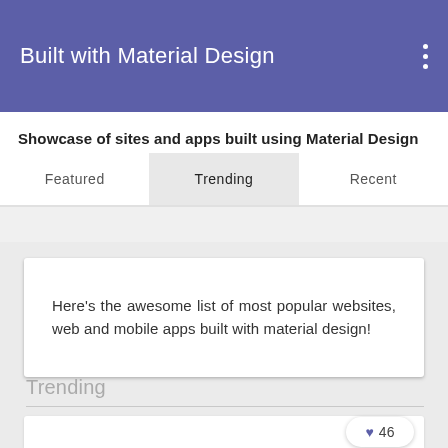Built with Material Design
Showcase of sites and apps built using Material Design
Featured   Trending   Recent
Here's the awesome list of most popular websites, web and mobile apps built with material design!
Trending
46